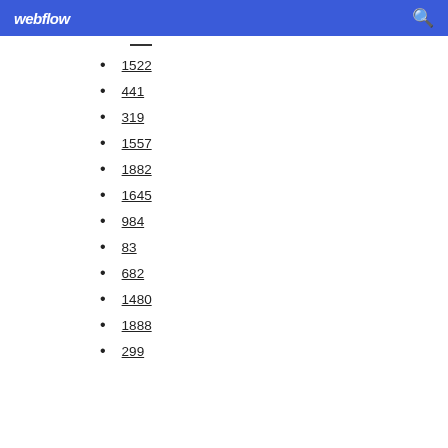webflow
1522
441
319
1557
1882
1645
984
83
682
1480
1888
299